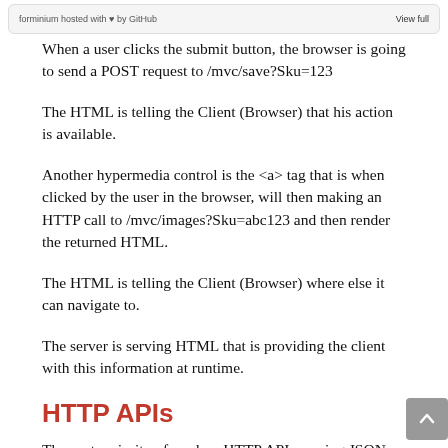forminium hosted with ♥ by GitHub   View full
When a user clicks the submit button, the browser is going to send a POST request to /mvc/save?Sku=123
The HTML is telling the Client (Browser) that his action is available.
Another hypermedia control is the <a> tag that is when clicked by the user in the browser, will then making an HTTP call to /mvc/images?Sku=abc123 and then render the returned HTML.
The HTML is telling the Client (Browser) where else it can navigate to.
The server is serving HTML that is providing the client with this information at runtime.
HTTP APIs
The vast majority of modern HTTP APIs serving JSON, do not provide any information in the content (JSON)